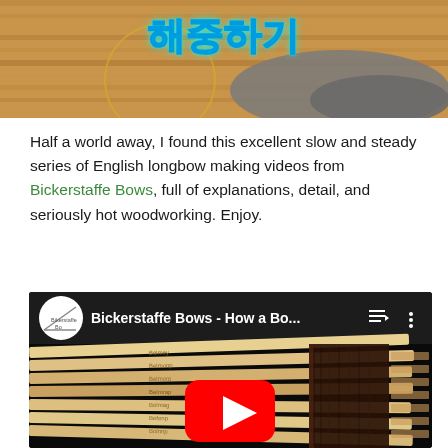[Figure (screenshot): Top portion of a video thumbnail showing Korean text (해중하기) in blue/teal neon-style font over a background of a wooden floor and person in grey clothing.]
Half a world away, I found this excellent slow and steady series of English longbow making videos from Bickerstaffe Bows, full of explanations, detail, and seriously hot woodworking. Enjoy.
[Figure (screenshot): YouTube video embed thumbnail showing 'Bickerstaffe Bows - How a Bo...' with a circular logo of Bickerstaffe Bows, playlist/menu icons, and a thumbnail image of multiple pale wooden longbow staves bundled together with dark leather wrapping, with a red YouTube play button overlaid in the center.]